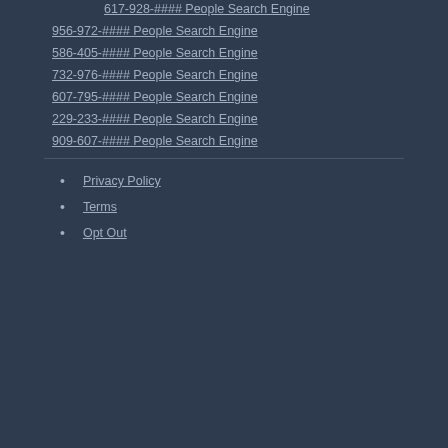617-928-#### People Search Engine
956-972-#### People Search Engine
586-405-#### People Search Engine
732-976-#### People Search Engine
607-795-#### People Search Engine
229-233-#### People Search Engine
909-607-#### People Search Engine
Privacy Policy
Terms
Opt Out